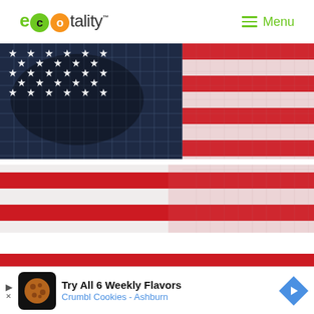[Figure (logo): ECOtality logo with green circle-e, orange circle-o styling and Menu button]
[Figure (photo): American flag made of solar panels — left canton area shows blue solar panel texture with white stars, right side shows red and white stripes with solar panel reflection, partially cropped]
Which Solar Panels Are Made in the USA?
[Figure (screenshot): Advertisement banner: Try All 6 Weekly Flavors - Crumbl Cookies - Ashburn with cookie icon and blue arrow]